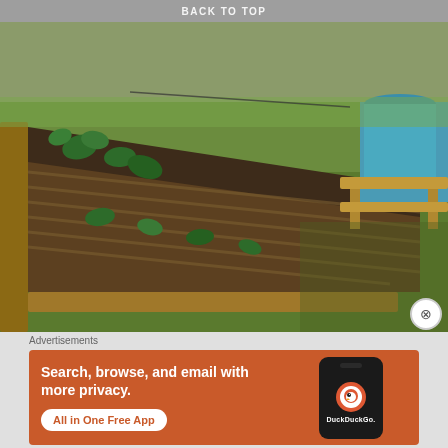BACK TO TOP
[Figure (photo): Outdoor raised garden bed with small green plants (possibly tomato seedlings) growing in rows on dark soil with straw mulch. A blue barrel and wooden bench are visible in the background on a grass lawn.]
Advertisements
[Figure (other): DuckDuckGo advertisement banner on orange background. Text reads: Search, browse, and email with more privacy. All in One Free App. Shows a smartphone with the DuckDuckGo logo and wordmark.]